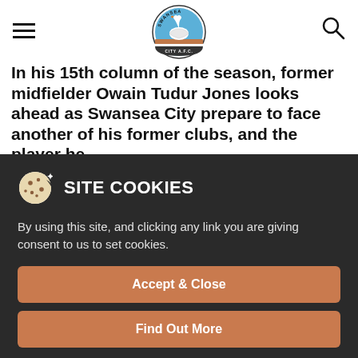[Figure (logo): Swansea City AFC circular club badge/crest with swan and blue/brown colors]
In his 15th column of the season, former midfielder Owain Tudur Jones looks ahead as Swansea City prepare to face another of his former clubs, and the player he
SITE COOKIES
By using this site, and clicking any link you are giving consent to us to set cookies.
Accept & Close
Find Out More